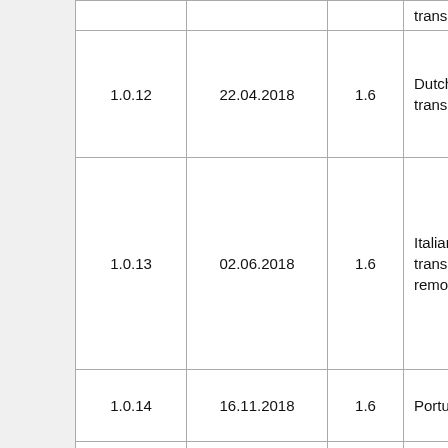| Version | Date | Min iOS | Notes |
| --- | --- | --- | --- |
| 1.0.12 | 22.04.2018 | 1.6 | Dutch and Russian translation |
| 1.0.13 | 02.06.2018 | 1.6 | Italian and Greek translation. Roll experiment removed from iOS. |
| 1.0.14 | 16.11.2018 | 1.6 | Portuguese translation |
| 1.0.15 | 18.11.2018 | 1.6 | Hotfix for i only. |
| 1.0.16 | 15.01.2019 | 1.6 | Japanese translation Minor bug |
|  |  |  | Bluetooth |